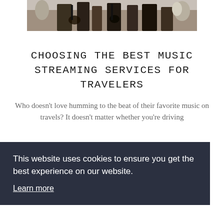[Figure (photo): Musicians performing with guitars at an outdoor event, cropped view showing hands and instruments]
CHOOSING THE BEST MUSIC STREAMING SERVICES FOR TRAVELERS
Who doesn't love humming to the beat of their favorite music on travels? It doesn't matter whether you're driving
This website uses cookies to ensure you get the best experience on our website. Learn more